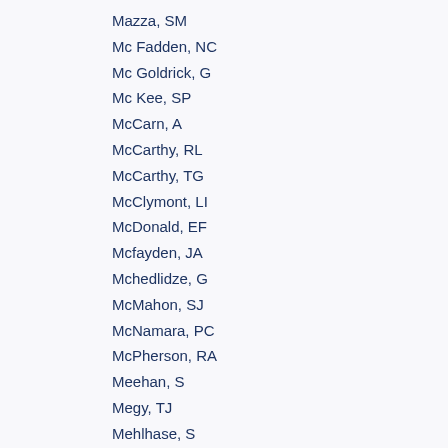Mazza, SM
Mc Fadden, NC
Mc Goldrick, G
Mc Kee, SP
McCarn, A
McCarthy, RL
McCarthy, TG
McClymont, LI
McDonald, EF
Mcfayden, JA
Mchedlidze, G
McMahon, SJ
McNamara, PC
McPherson, RA
Meehan, S
Megy, TJ
Mehlhase, S
Mehta, A
Meideck, T
Meier, K
Meirose, B
Melini, D
Garcia, BRM
Mellenthin, JD
Melo, M
Meloni, F